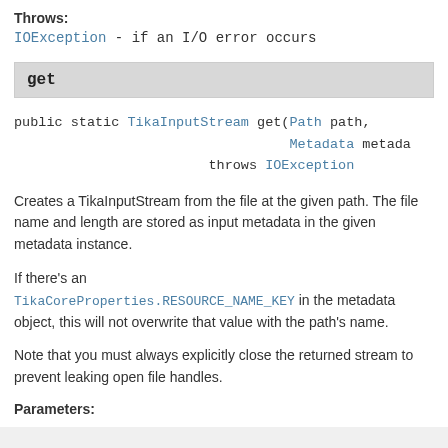Throws:
IOException - if an I/O error occurs
get
public static TikaInputStream get(Path path,
                                  Metadata metadata
                        throws IOException
Creates a TikaInputStream from the file at the given path. The file name and length are stored as input metadata in the given metadata instance.
If there's an TikaCoreProperties.RESOURCE_NAME_KEY in the metadata object, this will not overwrite that value with the path's name.
Note that you must always explicitly close the returned stream to prevent leaking open file handles.
Parameters: